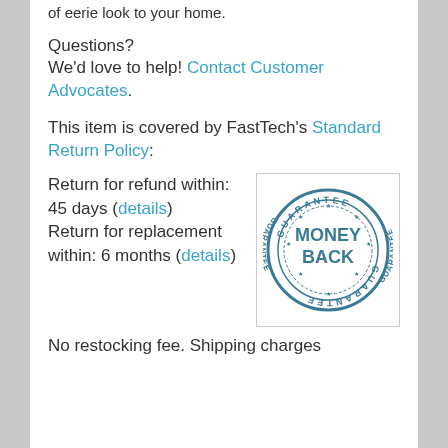of eerie look to your home.
Questions?
We'd love to help! Contact Customer Advocates.
This item is covered by FastTech's Standard Return Policy:
Return for refund within: 45 days (details)
Return for replacement within: 6 months (details)
[Figure (illustration): A circular stamp/seal graphic with text 'MONEY BACK GUARANTEE' in teal/blue color]
No restocking fee. Shipping charges